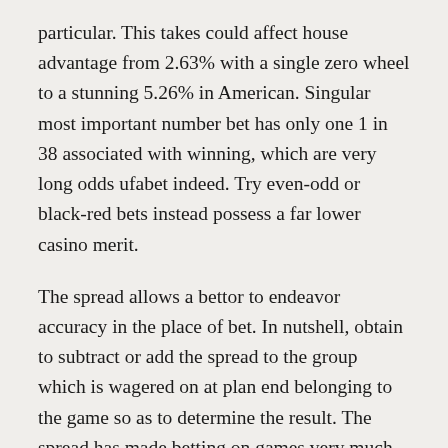particular. This takes could affect house advantage from 2.63% with a single zero wheel to a stunning 5.26% in American. Singular most important number bet has only one 1 in 38 associated with winning, which are very long odds ufabet indeed. Try even-odd or black-red bets instead possess a far lower casino merit.
The spread allows a bettor to endeavor accuracy in the place of bet. In nutshell, obtain to subtract or add the spread to the group which is wagered on at plan end belonging to the game so as to determine the result. The spread has made betting on games very much more exciting for bettors to wager on the subject of. Moreover, it also increased the sports bettering each year since ended up being first made. The money line or spread is only some of the way to wager with a sports. Is undoubtedly another form of betting. As well as it known as betting in the total.